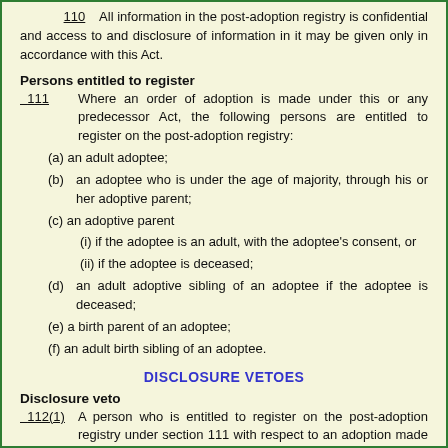All information in the post-adoption registry is confidential and access to and disclosure of information in it may be given only in accordance with this Act.
Persons entitled to register
111    Where an order of adoption is made under this or any predecessor Act, the following persons are entitled to register on the post-adoption registry:
(a) an adult adoptee;
(b) an adoptee who is under the age of majority, through his or her adoptive parent;
(c) an adoptive parent
(i) if the adoptee is an adult, with the adoptee's consent, or
(ii) if the adoptee is deceased;
(d) an adult adoptive sibling of an adoptee if the adoptee is deceased;
(e) a birth parent of an adoptee;
(f) an adult birth sibling of an adoptee.
DISCLOSURE VETOES
Disclosure veto
112(1)    A person who is entitled to register on the post-adoption registry under section 111 with respect to an adoption made under this